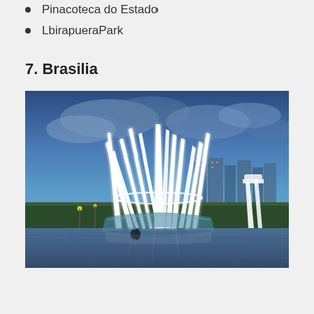Avenida Paulista
Pinacoteca do Estado
LbirapueraPark
7. Brasilia
[Figure (photo): Nighttime/twilight photo of the Cathedral of Brasilia (Cathedral Metropolitana), with its iconic white curved concrete spires illuminated against a blue cloudy sky, with city buildings visible in the background and wet pavement in the foreground.]